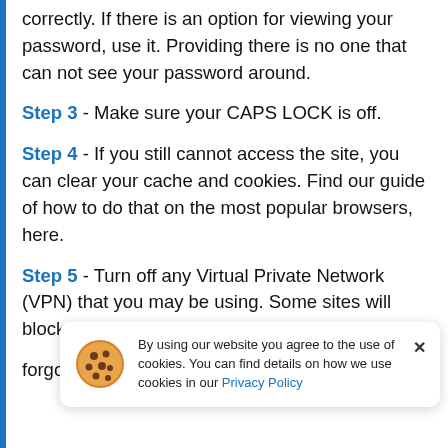correctly. If there is an option for viewing your password, use it. Providing there is no one that can not see your password around.
Step 3 - Make sure your CAPS LOCK is off.
Step 4 - If you still cannot access the site, you can clear your cache and cookies. Find our guide of how to do that on the most popular browsers, here.
Step 5 - Turn off any Virtual Private Network (VPN) that you may be using. Some sites will block specific country or place IP addresses.
By using our website you agree to the use of cookies. You can find details on how we use cookies in our Privacy Policy
forgotten your password. Follow the recover